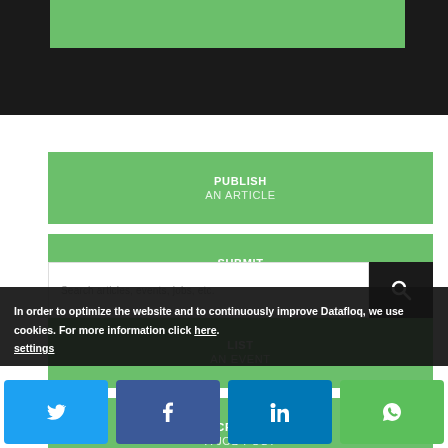[Figure (screenshot): Dark top bar with a green rectangular box inside]
PUBLISH AN ARTICLE
SUBMIT A PRESS RELEASE
LIST AN EVENT
CREATE A JOB POST
Search articles, events, jobs, etc.
In order to optimize the website and to continuously improve Datafloq, we use cookies. For more information click here. settings
[Figure (screenshot): Social share buttons row: Twitter, Facebook, LinkedIn, WhatsApp]